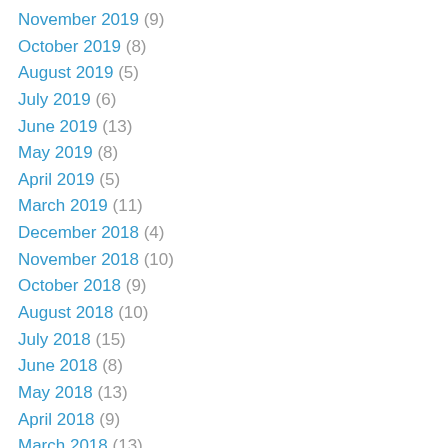November 2019 (9)
October 2019 (8)
August 2019 (5)
July 2019 (6)
June 2019 (13)
May 2019 (8)
April 2019 (5)
March 2019 (11)
December 2018 (4)
November 2018 (10)
October 2018 (9)
August 2018 (10)
July 2018 (15)
June 2018 (8)
May 2018 (13)
April 2018 (9)
March 2018 (13)
February 2018 (5)
January 2018 (6)
December 2017 (10)